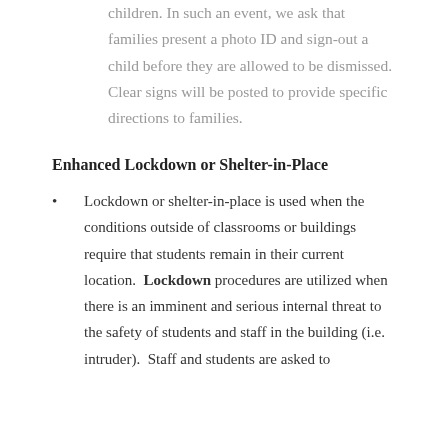children. In such an event, we ask that families present a photo ID and sign-out a child before they are allowed to be dismissed. Clear signs will be posted to provide specific directions to families.
Enhanced Lockdown or Shelter-in-Place
Lockdown or shelter-in-place is used when the conditions outside of classrooms or buildings require that students remain in their current location. Lockdown procedures are utilized when there is an imminent and serious internal threat to the safety of students and staff in the building (i.e. intruder). Staff and students are asked to